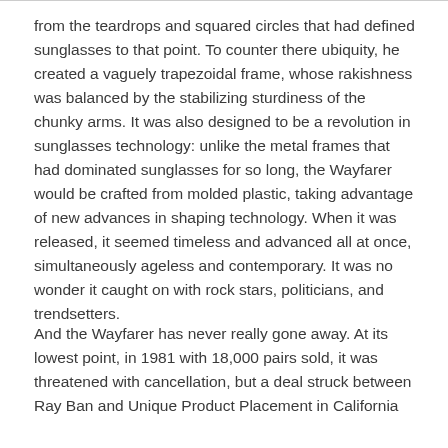from the teardrops and squared circles that had defined sunglasses to that point.  To counter there ubiquity, he created a vaguely trapezoidal frame, whose rakishness was balanced by the stabilizing sturdiness of the chunky arms.  It was also designed to be a revolution in sunglasses technology: unlike the metal frames that had dominated sunglasses for so long, the Wayfarer would be crafted from molded plastic, taking advantage of new advances in shaping technology.  When it was released, it seemed timeless and advanced all at once, simultaneously ageless and contemporary.  It was no wonder it caught on with rock stars, politicians, and trendsetters.
And the Wayfarer has never really gone away.  At its lowest point, in 1981 with 18,000 pairs sold, it was threatened with cancellation, but a deal struck between Ray Ban and Unique Product Placement in California